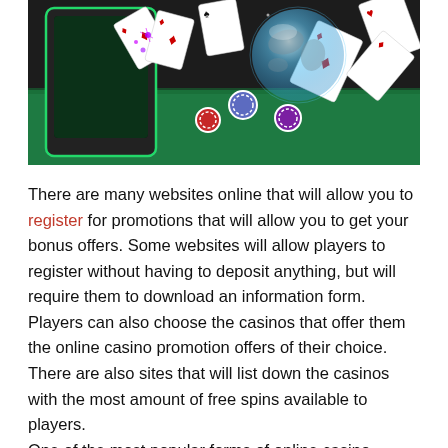[Figure (photo): Online casino promotional image showing playing cards flying out of a smartphone screen, casino chips, and a glass globe on a green felt table background.]
There are many websites online that will allow you to register for promotions that will allow you to get your bonus offers. Some websites will allow players to register without having to deposit anything, but will require them to download an information form. Players can also choose the casinos that offer them the online casino promotion offers of their choice. There are also sites that will list down the casinos with the most amount of free spins available to players.
One of the most popular forms of online casino